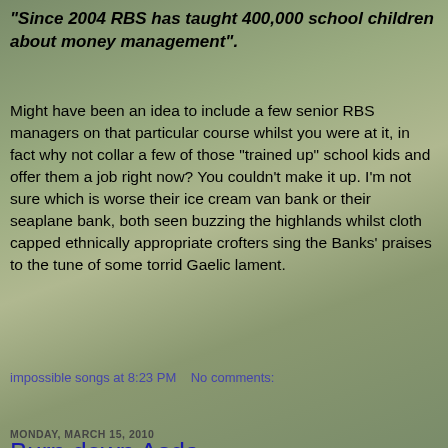"Since 2004 RBS has taught 400,000 school children about money management".
Might have been an idea to include a few senior RBS managers on that particular course whilst you were at it, in fact why not collar a few of those "trained up" school kids and offer them a job right now? You couldn't make it up. I'm not sure which is worse their ice cream van bank or their seaplane bank, both seen buzzing the highlands whilst cloth capped ethnically appropriate crofters sing the Banks' praises to the tune of some torrid Gaelic lament.
impossible songs at 8:23 PM   No comments:
Share
MONDAY, MARCH 15, 2010
Burn down Asda